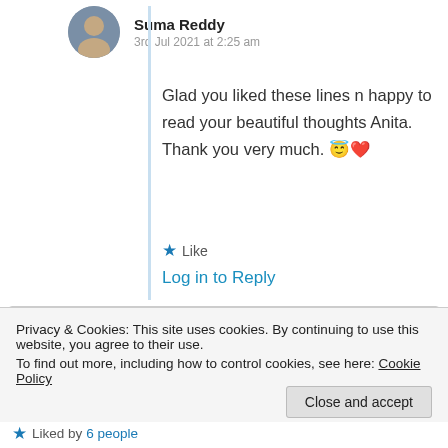Suma Reddy
3rd Jul 2021 at 2:25 am
Glad you liked these lines n happy to read your beautiful thoughts Anita. Thank you very much. 😇❤️
★ Like
Log in to Reply
Privacy & Cookies: This site uses cookies. By continuing to use this website, you agree to their use.
To find out more, including how to control cookies, see here: Cookie Policy
Close and accept
★ Liked by 6 people